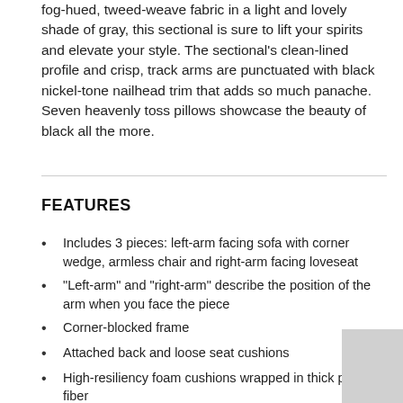fog-hued, tweed-weave fabric in a light and lovely shade of gray, this sectional is sure to lift your spirits and elevate your style. The sectional's clean-lined profile and crisp, track arms are punctuated with black nickel-tone nailhead trim that adds so much panache. Seven heavenly toss pillows showcase the beauty of black all the more.
FEATURES
Includes 3 pieces: left-arm facing sofa with corner wedge, armless chair and right-arm facing loveseat
"Left-arm" and "right-arm" describe the position of the arm when you face the piece
Corner-blocked frame
Attached back and loose seat cushions
High-resiliency foam cushions wrapped in thick poly fiber
7 accent pillows included
Pillows with soft polyfill